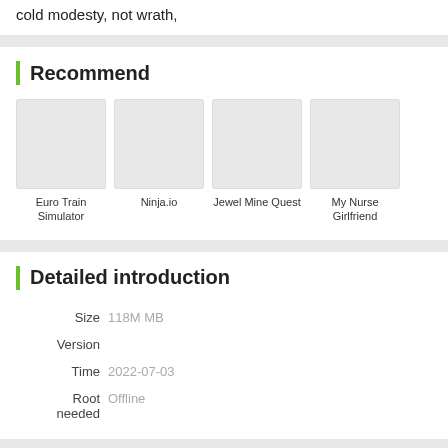cold modesty, not wrath,
Recommend
[Figure (other): Recommendation grid with four app thumbnails: Euro Train Simulator, Ninja.io, Jewel Mine Quest, My Nurse Girlfriend]
Detailed introduction
| Field | Value |
| --- | --- |
| Size | 118M MB |
| Version |  |
| Time | 2022-07-03 |
| Root needed | Offline |